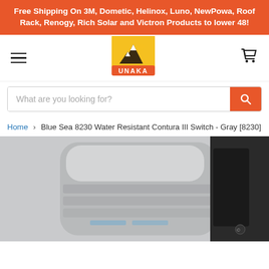Free Shipping On 3M, Dometic, Helinox, Luno, NewPowa, Roof Rack, Renogy, Rich Solar and Victron Products to lower 48!
[Figure (logo): UNAKA brand logo - mountain scene in yellow/orange arch with red banner at bottom reading UNAKA]
What are you looking for?
Home > Blue Sea 8230 Water Resistant Contura III Switch - Gray [8230]
[Figure (photo): Close-up photo of a gray Blue Sea 8230 Water Resistant Contura III Switch mounted on a black panel bracket]